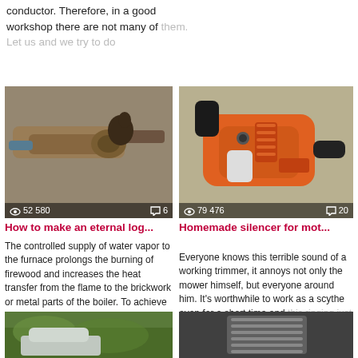conductor. Therefore, in a good workshop there are not many of them. Let us and we try to do
[Figure (photo): Close-up photo of rusty or corroded pipe fittings/connections against a stone wall, with view count 52 580 and comment count 6]
[Figure (photo): Photo of an orange Stihl trimmer/motor tool engine on ground, with view count 79 476 and comment count 20]
How to make an eternal log...
Homemade silencer for mot...
The controlled supply of water vapor to the furnace prolongs the burning of firewood and increases the heat transfer from the flame to the brickwork or metal parts of the boiler. To achieve this effect, the "eternal log" device is used. In the presence of
Everyone knows this terrible sound of a working trimmer, it annoys not only the mower himself, but everyone around him. It's worthwhile to work as a scythe even for a short time and this ringing just stands in your
[Figure (photo): Partial bottom-left thumbnail showing green outdoor/garden scene]
[Figure (photo): Partial bottom-right thumbnail showing dark mechanical/hardware close-up]